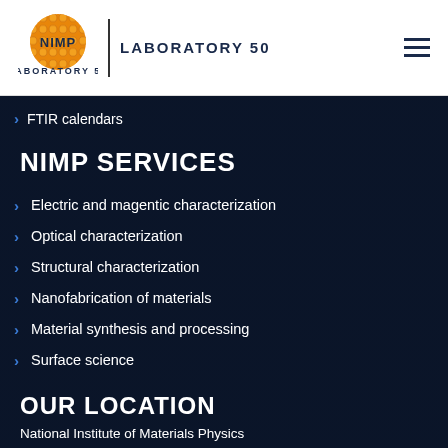[Figure (logo): NIMP Laboratory 50 logo with orange honeycomb sphere graphic and dark blue text]
FTIR calendars
NIMP SERVICES
Electric and magentic characterization
Optical characterization
Structural characterization
Nanofabrication of materials
Material synthesis and processing
Surface science
OUR LOCATION
National Institute of Materials Physics